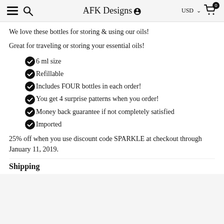AFK Designs | USD | Cart 0
We love these bottles for storing & using our oils!
Great for traveling or storing your essential oils!
6 ml size
Refillable
Includes FOUR bottles in each order!
You get 4 surprise patterns when you order!
Money back guarantee if not completely satisfied
Imported
25% off when you use discount code SPARKLE at checkout through January 11, 2019.
Shipping